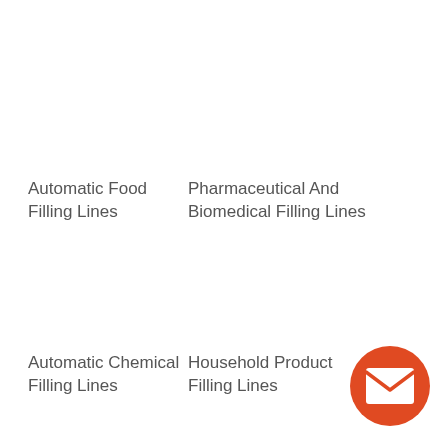Automatic Food Filling Lines
Pharmaceutical And Biomedical Filling Lines
Automatic Chemical Filling Lines
Household Product Filling Lines
[Figure (logo): Orange circle with white envelope/mail icon]